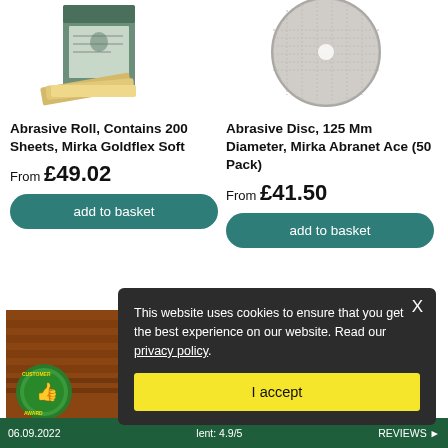[Figure (photo): Product image of Abrasive Roll, Mirka Goldflex Soft - box with sandpaper sheets]
[Figure (photo): Product image of Abrasive Disc 125mm, Mirka Abranet Ace - circular mesh disc]
Abrasive Roll, Contains 200 Sheets, Mirka Goldflex Soft
From £49.02
add to basket
Abrasive Disc, 125 Mm Diameter, Mirka Abranet Ace (50 Pack)
From £41.50
add to basket
[Figure (screenshot): Cookie consent popup overlay with dark background. Text: This website uses cookies to ensure that you get the best experience on our website. Read our privacy policy. Button: I accept]
[Figure (photo): Bottom left: abrasive belt product image with green customer award badge]
[Figure (photo): Bottom right: dark circular abrasive product image]
06.09.2022    lent: 4.9/5    REVIEWS ▶